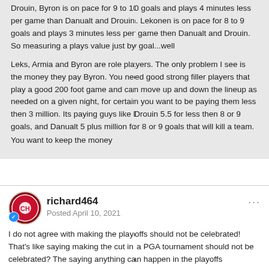Drouin. Byron is on pace for 9 to 10 goals and plays 4 minutes less per game than Danualt and Drouin. Lekonen is on pace for 8 to 9 goals and plays 3 minutes less per game then Danualt and Drouin. So measuring a plays value just by goal...well
Leks, Armia and Byron are role players. The only problem I see is the money they pay Byron. You need good strong filler players that play a good 200 foot game and can move up and down the lineup as needed on a given night, for certain you want to be paying them less then 3 million.  Its paying guys like Drouin 5.5 for less then 8 or 9 goals, and Danualt 5 plus million for 8 or 9 goals that will kill a team. You want to keep the money
richard464
Posted April 10, 2021
I do not agree with making the playoffs should not be celebrated! That's like saying making the cut in a PGA tournament should not be celebrated? The saying anything can happen in the playoffs sometimes gets overused for sure. However there is no chance of winning the prize if you are not in competition for it. Over the years there have been some